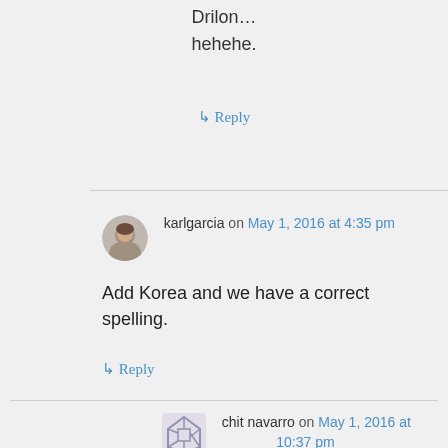Drilon…
hehehe.
↳ Reply
karlgarcia on May 1, 2016 at 4:35 pm
Add Korea and we have a correct spelling.
↳ Reply
chit navarro on May 1, 2016 at 10:37 pm
BRICKS...